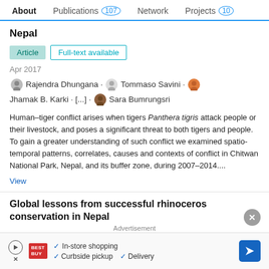About  Publications 107  Network  Projects 10
Nepal
Article  Full-text available
Apr 2017
Rajendra Dhungana · Tommaso Savini · Jhamak B. Karki · [...] · Sara Bumrungsri
Human–tiger conflict arises when tigers Panthera tigris attack people or their livestock, and poses a significant threat to both tigers and people. To gain a greater understanding of such conflict we examined spatio-temporal patterns, correlates, causes and contexts of conflict in Chitwan National Park, Nepal, and its buffer zone, during 2007–2014....
View
Global lessons from successful rhinoceros conservation in Nepal
Advertisement